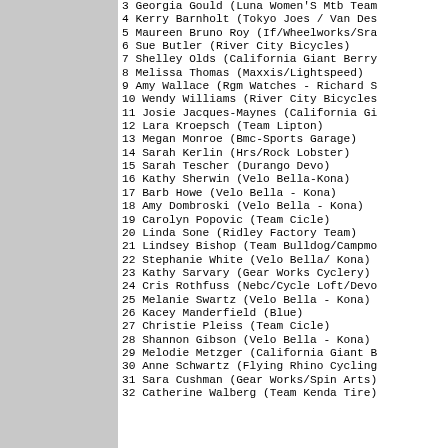3 Georgia Gould (Luna Women'S Mtb Team
4 Kerry Barnholt (Tokyo Joes / Van Des
5 Maureen Bruno Roy (If/Wheelworks/Sra
6 Sue Butler (River City Bicycles)
7 Shelley Olds (California Giant Berry
8 Melissa Thomas (Maxxis/Lightspeed)
9 Amy Wallace (Rgm Watches - Richard S
10 Wendy Williams (River City Bicycles
11 Josie Jacques-Maynes (California Gi
12 Lara Kroepsch (Team Lipton)
13 Megan Monroe (Bmc-Sports Garage)
14 Sarah Kerlin (Hrs/Rock Lobster)
15 Sarah Tescher (Durango Devo)
16 Kathy Sherwin (Velo Bella-Kona)
17 Barb Howe (Velo Bella - Kona)
18 Amy Dombroski (Velo Bella - Kona)
19 Carolyn Popovic (Team Cicle)
20 Linda Sone (Ridley Factory Team)
21 Lindsey Bishop (Team Bulldog/Campmo
22 Stephanie White (Velo Bella/ Kona)
23 Kathy Sarvary (Gear Works Cyclery)
24 Cris Rothfuss (Nebc/Cycle Loft/Devo
25 Melanie Swartz (Velo Bella - Kona)
26 Kacey Manderfield (Blue)
27 Christie Pleiss (Team Cicle)
28 Shannon Gibson (Velo Bella - Kona)
29 Melodie Metzger (California Giant B
30 Anne Schwartz (Flying Rhino Cycling
31 Sara Cushman (Gear Works/Spin Arts)
32 Catherine Walberg (Team Kenda Tire)